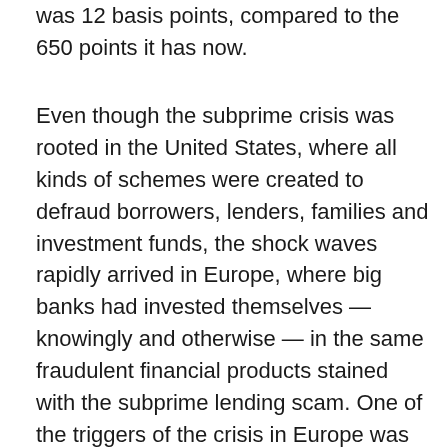was 12 basis points, compared to the 650 points it has now.
Even though the subprime crisis was rooted in the United States, where all kinds of schemes were created to defraud borrowers, lenders, families and investment funds, the shock waves rapidly arrived in Europe, where big banks had invested themselves — knowingly and otherwise — in the same fraudulent financial products stained with the subprime lending scam. One of the triggers of the crisis in Europe was the temporary suspension of the liquid value of three funds owned by BNP Paribas on August 9, 2007. This move was a direct consequence of the subprime mortgage debacle in the U.S., where investing firms used customer money to gamble, while their risk was minimum. From every $100 that was put at risk, $97 belonged to pension funds, credit